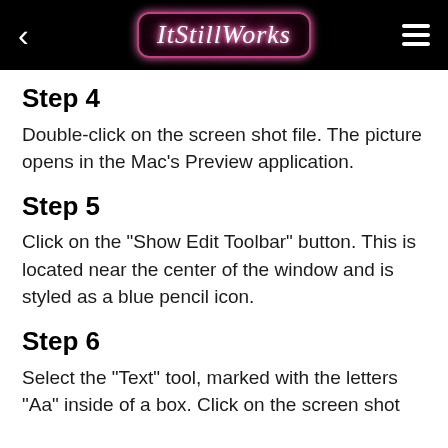ItStillWorks
Step 4
Double-click on the screen shot file. The picture opens in the Mac's Preview application.
Step 5
Click on the "Show Edit Toolbar" button. This is located near the center of the window and is styled as a blue pencil icon.
Step 6
Select the "Text" tool, marked with the letters "Aa" inside of a box. Click on the screen shot